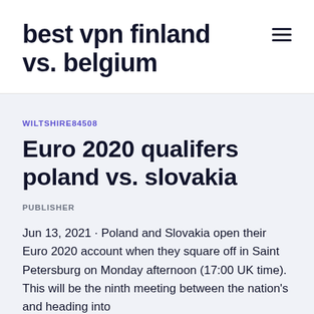best vpn finland vs. belgium
WILTSHIRE84508
Euro 2020 qualifers poland vs. slovakia
PUBLISHER
Jun 13, 2021 · Poland and Slovakia open their Euro 2020 account when they square off in Saint Petersburg on Monday afternoon (17:00 UK time). This will be the ninth meeting between the nation's and heading into